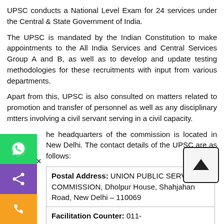UPSC conducts a National Level Exam for 24 services under the Central & State Government of India.
The UPSC is mandated by the Indian Constitution to make appointments to the All India Services and Central Services Group A and B, as well as to develop and update testing methodologies for these recruitments with input from various departments.
Apart from this, UPSC is also consulted on matters related to promotion and transfer of personnel as well as any disciplinary matters involving a civil servant serving in a civil capacity.
The headquarters of the commission is located in New Delhi. The contact details of the UPSC are as follows:
| Postal Address: UNION PUBLIC SERVICE COMMISSION, Dholpur House, Shahjahan Road, New Delhi – 110069 |
| Facilitation Counter: 011-23098543/23385271/23381125/23098591 |
| Email: feedback-upsc@gov.in |